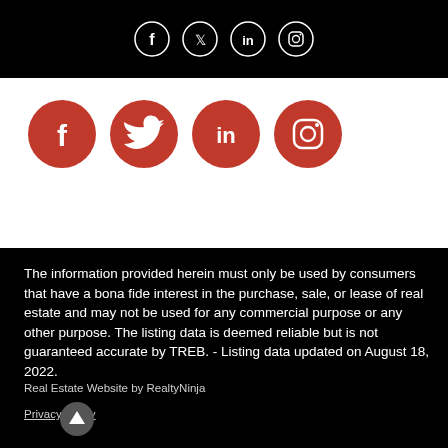[Figure (illustration): Top black bar with four outlined social media icons (Facebook, Twitter, LinkedIn, Instagram) centered horizontally]
[Figure (illustration): Four large red circular social media icons (Facebook, Twitter, LinkedIn, Instagram) on white background]
The information provided herein must only be used by consumers that have a bona fide interest in the purchase, sale, or lease of real estate and may not be used for any commercial purpose or any other purpose. The listing data is deemed reliable but is not guaranteed accurate by TREB. - Listing data updated on August 18, 2022.
Real Estate Website by RealtyNinja
Privacy Policy